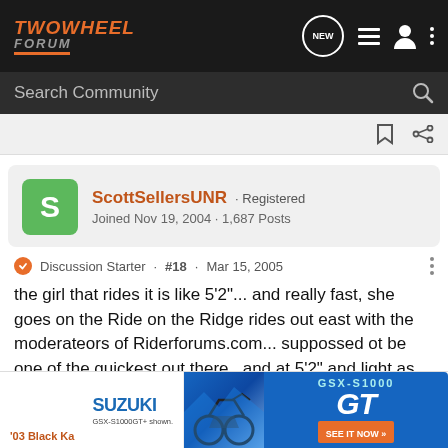TwoWheel Forum
Search Community
ScottSellersUNR · Registered
Joined Nov 19, 2004 · 1,687 Posts
Discussion Starter · #18 · Mar 15, 2005
the girl that rides it is like 5'2"... and really fast, she goes on the Ride on the Ridge rides out east with the moderateors of Riderforums.com... suppossed ot be one of the quickest out there.. and at 5'2" and light as hell thats a big power:weight advantage.
[Figure (photo): Suzuki GSX-S1000 GT advertisement banner at the bottom of the page]